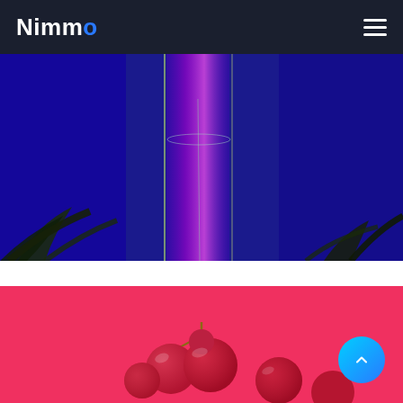Nimmo
[Figure (photo): Dark blue background with a glass cylinder and iridescent purple/blue vertical stripe, palm leaves at bottom]
[Figure (photo): Bright pink/coral background with red grapes cluster visible at bottom center]